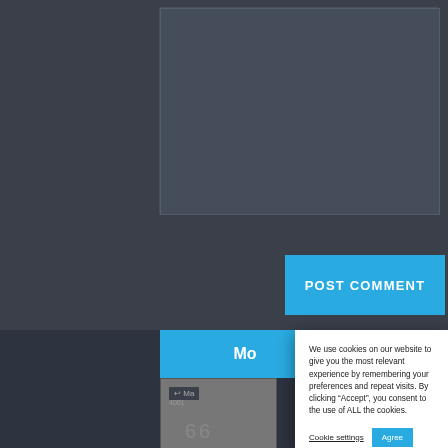[Figure (screenshot): Dark themed web interface showing a textarea/comment input box at the top]
[Figure (screenshot): POST COMMENT button in blue on dark background]
[Figure (screenshot): Partially visible 'Mo...' blue tab on dark background with a thumbnail card below showing number 66]
We use cookies on our website to give you the most relevant experience by remembering your preferences and repeat visits. By clicking “Accept”, you consent to the use of ALL the cookies.
Cookie settings
Agree